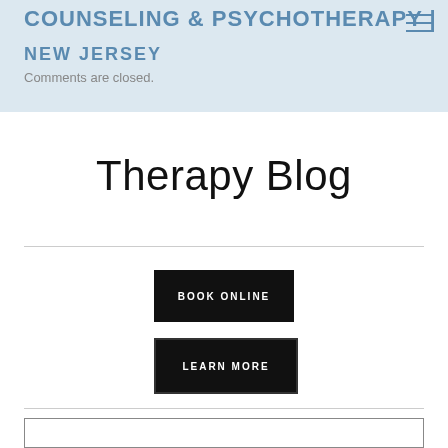COUNSELING & PSYCHOTHERAPY | NEW JERSEY
Comments are closed.
Therapy Blog
BOOK ONLINE
LEARN MORE